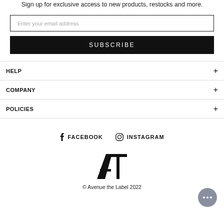Sign up for exclusive access to new products, restocks and more.
Enter your email address
SUBSCRIBE
HELP
COMPANY
POLICIES
FACEBOOK   INSTAGRAM
[Figure (logo): Avenue the Label logo - stylized AT monogram]
© Avenue the Label 2022